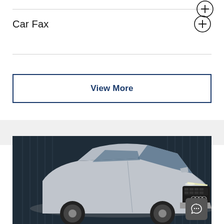Car Fax
View More
[Figure (photo): Front view of a silver/gray Audi SUV (SQ5 or similar) photographed against a dark industrial background with vertical metal panels. The car features Audi's signature grille, quad rings badge, and LED headlights.]